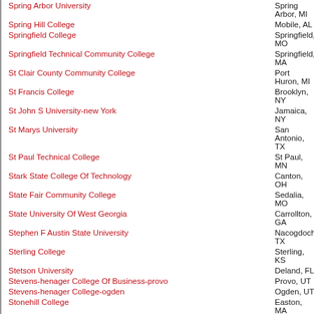Spring Arbor University | Spring Arbor, MI
Spring Hill College | Mobile, AL
Springfield College | Springfield, MO
Springfield Technical Community College | Springfield, MA
St Clair County Community College | Port Huron, MI
St Francis College | Brooklyn, NY
St John S University-new York | Jamaica, NY
St Marys University | San Antonio, TX
St Paul Technical College | St Paul, MN
Stark State College Of Technology | Canton, OH
State Fair Community College | Sedalia, MO
State University Of West Georgia | Carrollton, GA
Stephen F Austin State University | Nacogdoches, TX
Sterling College | Sterling, KS
Stetson University | Deland, FL
Stevens-henager College Of Business-provo | Provo, UT
Stevens-henager College-ogden | Ogden, UT
Stonehill College | Easton, MA
Strayer University-alexandria Campus | Alexandria, VA
Strayer University-arlington Campus | Arlington, VA
Strayer University-chesterfield Campus | Midlothian, VA
Strayer University-fredericksburg Campus | Fredericksburg, VA
Strayer University-henrico Campus | Glen Allen, VA
Strayer University-loudoun Campus | Ashburn, VA
Strayer University-manassas Campus | Manassas, VA
Strayer University-montgomery Campus | Germantown, MD
Strayer University-prince Georges Campus | Suitland, MD
Strayer University-takoma Park Campus | Washington, DC